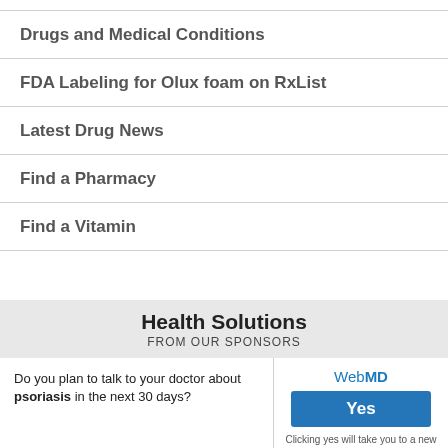Drugs and Medical Conditions
FDA Labeling for Olux foam on RxList
Latest Drug News
Find a Pharmacy
Find a Vitamin
Health Solutions
FROM OUR SPONSORS
Do you plan to talk to your doctor about psoriasis in the next 30 days?
[Figure (other): WebMD sponsor advertisement with Yes button and text: Clicking yes will take you to a new page to learn about Psoriasis.]